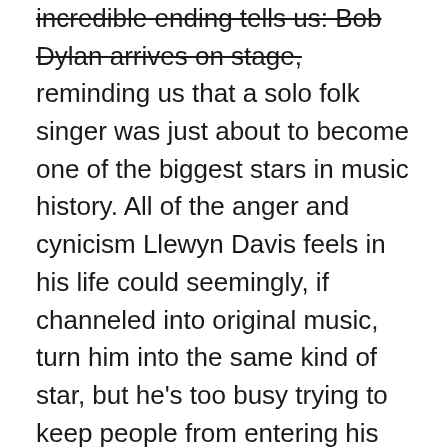incredible ending tells us: Bob Dylan arrives on stage, reminding us that a solo folk singer was just about to become one of the biggest stars in music history. All of the anger and cynicism Llewyn Davis feels in his life could seemingly, if channeled into original music, turn him into the same kind of star, but he's too busy trying to keep people from entering his world uninvited to notice. While Dylan is on stage changing the world, he's getting beaten up in an alley for insulting a poor older woman who had the temerity to play some dull music in front of a drunken Llewyn Davis. (Side note: Davis is actually insulting her because he's angry to discover that he isn't alone in getting his friend Jean to have sex with him. Llewyn Davis considers himself to be something special, and the idea that he's not drives his heckling as much as the music and liquor does.)